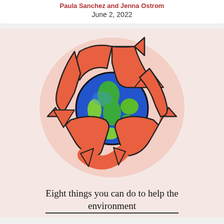Paula Sanchez and Jenna Ostrom
June 2, 2022
[Figure (illustration): Recycling symbol with three orange arrows forming a triangle around a globe showing green continents on blue ocean, on a light salmon/peach background.]
Eight things you can do to help the environment